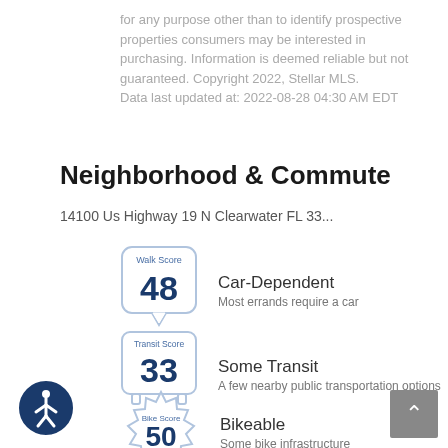for any purpose other than to identify prospective properties consumers may be interested in purchasing. Information is deemed reliable but not guaranteed. Copyright 2022, Stellar MLS. Data last updated at: 2022-08-28 04:30 AM EDT
Neighborhood & Commute
14100 Us Highway 19 N Clearwater FL 33...
[Figure (infographic): Walk Score badge showing score of 48]
Car-Dependent
Most errands require a car
[Figure (infographic): Transit Score badge showing score of 33]
Some Transit
A few nearby public transportation options
[Figure (infographic): Bike Score badge showing score of 50]
Bikeable
Some bike infrastructure